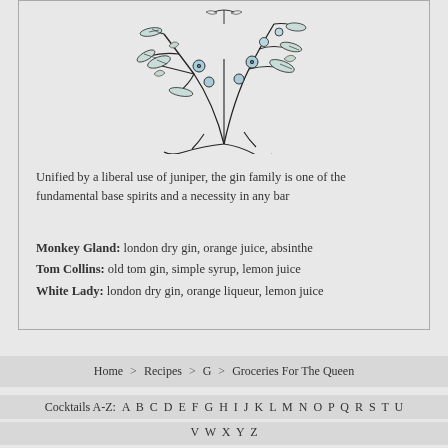[Figure (illustration): Botanical ink illustration of juniper branches with berries and botanical elements, with light blue-tinted berries/accents on a light background]
Unified by a liberal use of juniper, the gin family is one of the fundamental base spirits and a necessity in any bar
Monkey Gland: london dry gin, orange juice, absinthe
Tom Collins: old tom gin, simple syrup, lemon juice
White Lady: london dry gin, orange liqueur, lemon juice
Home > Recipes > G > Groceries For The Queen
Cocktails A-Z: A B C D E F G H I J K L M N O P Q R S T U V W X Y Z